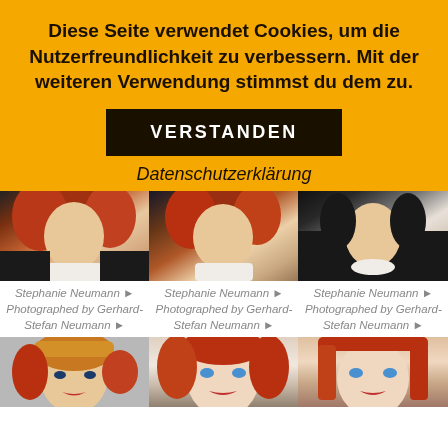Diese Seite verwendet Cookies, um die Nutzerfreundlichkeit zu verbessern. Mit der weiteren Verwendung stimmst du dem zu.
VERSTANDEN
Datenschutzerklärung
[Figure (photo): Photo of Stephanie Neumann, upper body, red curly hair, white lace top, dark jacket]
Stephanie Neumann ► Photographed by Gerhard-Stefan Neumann ►
[Figure (photo): Photo of Stephanie Neumann, upper body, red curly hair, white lace top, dark background]
Stephanie Neumann ► Photographed by Gerhard-Stefan Neumann ►
[Figure (photo): Photo of Stephanie Neumann, upper body, white lace top, dark blazer]
Stephanie Neumann ► Photographed by Gerhard-Stefan Neumann ►
[Figure (photo): Photo of woman with golden hat and red hair, close-up face]
[Figure (photo): Photo of woman with red hair and blue eyes, close-up face]
[Figure (photo): Photo of woman with red hair and blue eyes, close-up face]